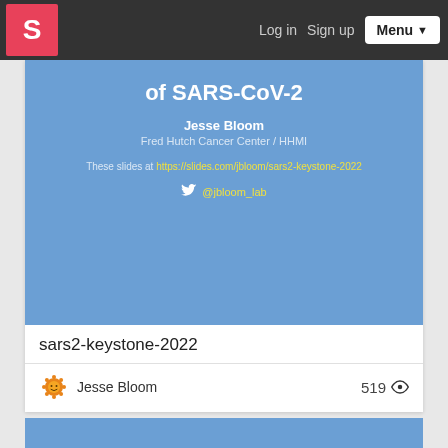S  Log in  Sign up  Menu
of SARS-CoV-2
Jesse Bloom
Fred Hutch Cancer Center / HHMI
These slides at https://slides.com/jbloom/sars2-keystone-2022
@jbloom_lab
sars2-keystone-2022
Jesse Bloom  519 👁